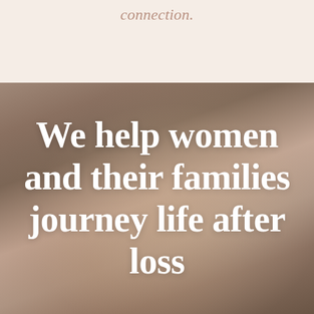connection.
[Figure (photo): Close-up of a woman's hands holding a white candle or mug, warm earthy tones, soft blurred background]
We help women and their families journey life after loss